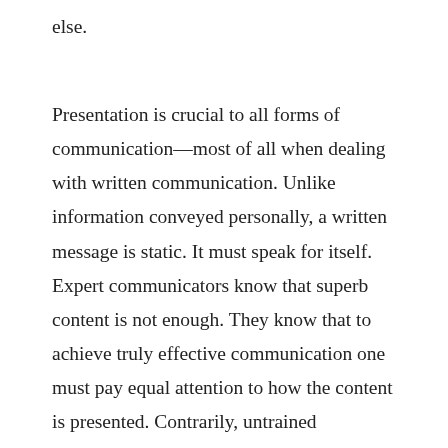else.
Presentation is crucial to all forms of communication—most of all when dealing with written communication. Unlike information conveyed personally, a written message is static. It must speak for itself. Expert communicators know that superb content is not enough. They know that to achieve truly effective communication one must pay equal attention to how the content is presented. Contrarily, untrained communicators don't realize that style can, and often does, override substance—and corporate trash-cans nationwide brim with the ridiculed remains of their ransom-note-like resumes. So how can you enhance